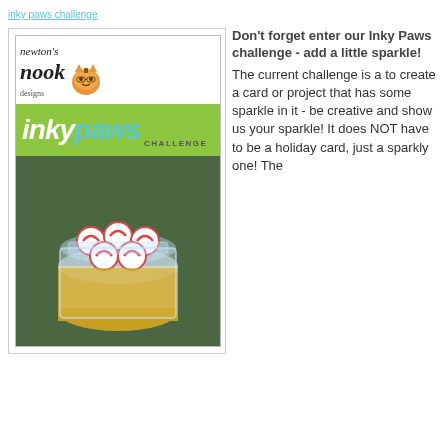[Figure (illustration): Newton's Nook Designs Inky Paws Challenge #15 Add a Little Sparkle! promotional image showing a glass jar filled with peppermint candies on a gold glitter base, with the Newton's Nook Designs logo and Inky Paws Challenge banner.]
Don't forget enter our Inky Paws challenge - add a little sparkle! The current challenge is a to create a card or project that has some sparkle in it - be creative and show us your sparkle! It does NOT have to be a holiday card, just a sparkly one! The